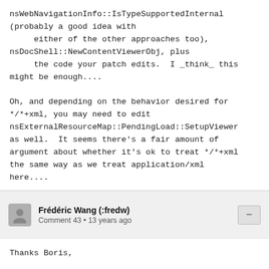nsWebNavigationInfo::IsTypeSupportedInternal
(probably a good idea with
     either of the other approaches too),
nsDocShell::NewContentViewerObj, plus
     the code your patch edits.  I _think_ this
might be enough....

Oh, and depending on the behavior desired for
*/*+xml, you may need to edit
nsExternalResourceMap::PendingLoad::SetupViewer
as well.  It seems there's a fair amount of
argument about whether it's ok to treat */*+xml
the same way as we treat application/xml
here....
Frédéric Wang (:fredw) • Comment 43 • 13 years ago
Thanks Boris,